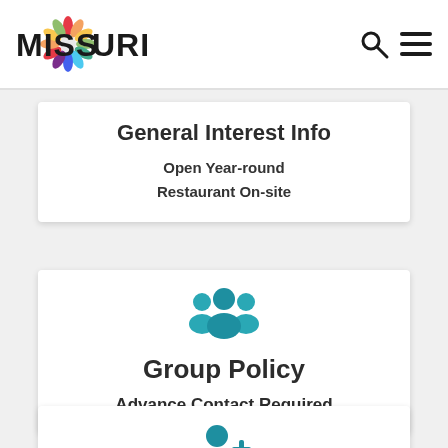MISSOURI
General Interest Info
Open Year-round
Restaurant On-site
[Figure (illustration): Teal group/people icon representing group policy]
Group Policy
Advance Contact Required
[Figure (illustration): Teal person-plus icon representing membership or joining]